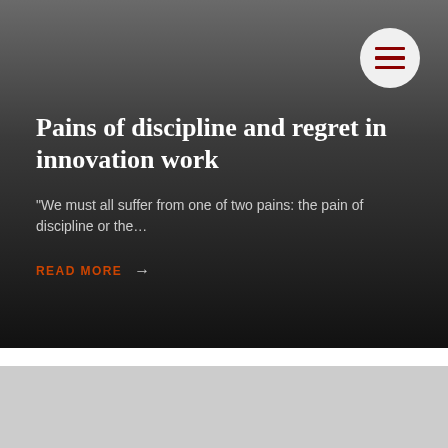[Figure (illustration): Dark gradient hero background with a hamburger menu button (white circle with dark red lines) in the top right corner]
Pains of discipline and regret in innovation work
“We must all suffer from one of two pains: the pain of discipline or the…
READ MORE →
[Figure (illustration): Light gray card/section at the bottom of the page]